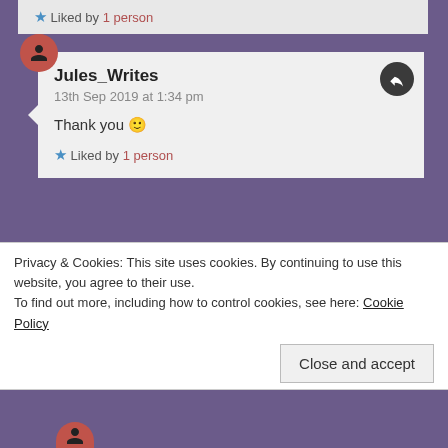★ Liked by 1 person
Jules_Writes
13th Sep 2019 at 1:34 pm
Thank you 🙂
★ Liked by 1 person
fantasticbookdragon
15th Sep 2019 at 9:51 pm
Privacy & Cookies: This site uses cookies. By continuing to use this website, you agree to their use.
To find out more, including how to control cookies, see here: Cookie Policy
Close and accept